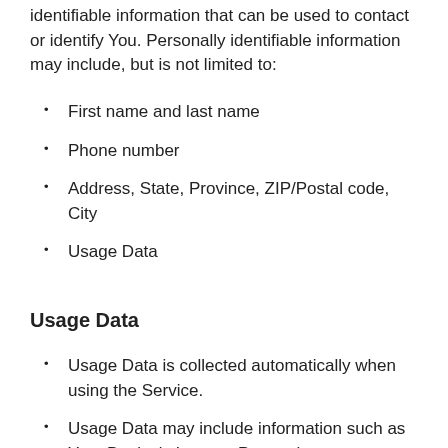identifiable information that can be used to contact or identify You. Personally identifiable information may include, but is not limited to:
First name and last name
Phone number
Address, State, Province, ZIP/Postal code, City
Usage Data
Usage Data
Usage Data is collected automatically when using the Service.
Usage Data may include information such as Your Device's Internet Protocol